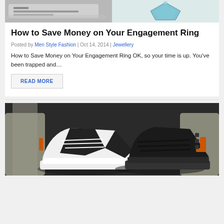[Figure (photo): Two product photos side by side: left shows a keyboard/silver tray, right shows a blue gemstone/diamond pendant on a plate]
How to Save Money on Your Engagement Ring
Posted by Men Style Fashion | Oct 14, 2014 | Jewellery
How to Save Money on Your Engagement Ring OK, so your time is up. You've been trapped and…
READ MORE
[Figure (photo): A photo of two pairs of sneakers/high-top shoes - one white with black accents and one black sneaker, placed on stone steps]